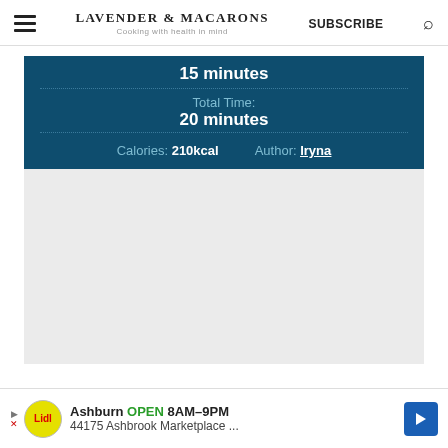LAVENDER & MACARONS
Cooking with health in mind
SUBSCRIBE
| 15 minutes |
| Total Time: | 20 minutes |
| Calories: 210kcal | Author: Iryna |
Ashburn OPEN 8AM–9PM
44175 Ashbrook Marketplace ...